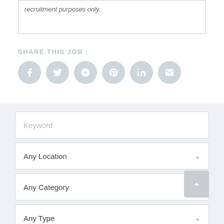recruitment purposes only.
SHARE THIS JOB :
[Figure (infographic): Row of 6 social sharing icon buttons (Facebook, Twitter, Google+, Pinterest, LinkedIn, Email) as light blue-grey circles with white icons]
[Figure (screenshot): Job search form panel with Keyword input, Any Location dropdown, Any Category dropdown, Any Type dropdown on a light grey background]